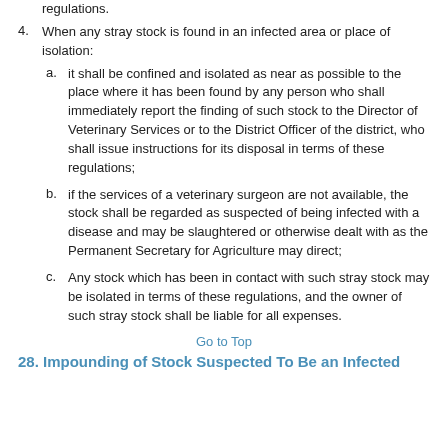regulations.
4. When any stray stock is found in an infected area or place of isolation:
a. it shall be confined and isolated as near as possible to the place where it has been found by any person who shall immediately report the finding of such stock to the Director of Veterinary Services or to the District Officer of the district, who shall issue instructions for its disposal in terms of these regulations;
b. if the services of a veterinary surgeon are not available, the stock shall be regarded as suspected of being infected with a disease and may be slaughtered or otherwise dealt with as the Permanent Secretary for Agriculture may direct;
c. Any stock which has been in contact with such stray stock may be isolated in terms of these regulations, and the owner of such stray stock shall be liable for all expenses.
Go to Top
28. Impounding of Stock Suspected To Be an Infected